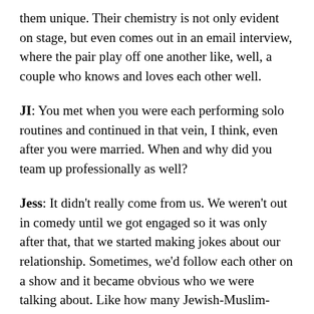them unique. Their chemistry is not only evident on stage, but even comes out in an email interview, where the pair play off one another like, well, a couple who knows and loves each other well.
JI: You met when you were each performing solo routines and continued in that vein, I think, even after you were married. When and why did you team up professionally as well?
Jess: It didn't really come from us. We weren't out in comedy until we got engaged so it was only after that, that we started making jokes about our relationship. Sometimes, we'd follow each other on a show and it became obvious who we were talking about. Like how many Jewish-Muslim-Palestinian Canadian couples that moved to America from Canada are there? Another comedy couple might be able to be on a show together and say my boyfriend